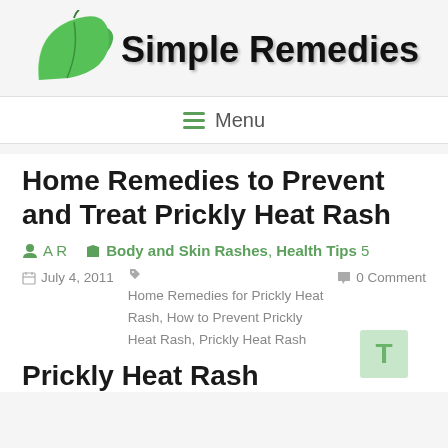[Figure (logo): Simple Remedies website logo with green leaf illustration and bold text]
≡ Menu
Home Remedies to Prevent and Treat Prickly Heat Rash
A R   Body and Skin Rashes, Health Tips 5
July 4, 2011   Home Remedies for Prickly Heat Rash, How to Prevent Prickly Heat Rash, Prickly Heat Rash   0 Comment
Prickly Heat Rash